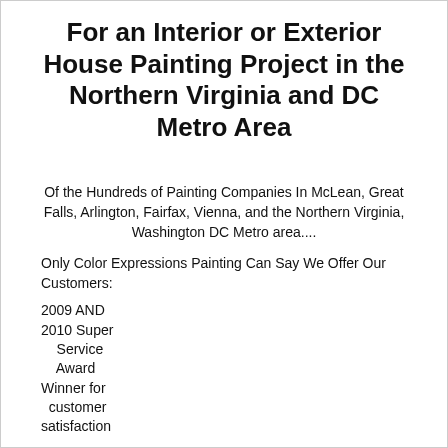For an Interior or Exterior House Painting Project in the Northern Virginia and DC Metro Area
Of the Hundreds of Painting Companies In McLean, Great Falls, Arlington, Fairfax, Vienna, and the Northern Virginia, Washington DC Metro area....
Only Color Expressions Painting Can Say We Offer Our Customers:
2009 AND 2010 Super Service Award Winner for customer satisfaction